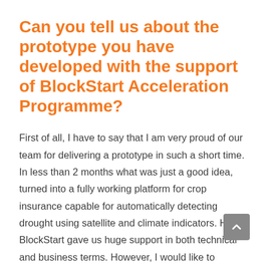Can you tell us about the prototype you have developed with the support of BlockStart Acceleration Programme?
First of all, I have to say that I am very proud of our team for delivering a prototype in such a short time. In less than 2 months what was just a good idea, turned into a fully working platform for crop insurance capable for automatically detecting drought using satellite and climate indicators. Here BlockStart gave us huge support in both technical and business terms. However, I would like to